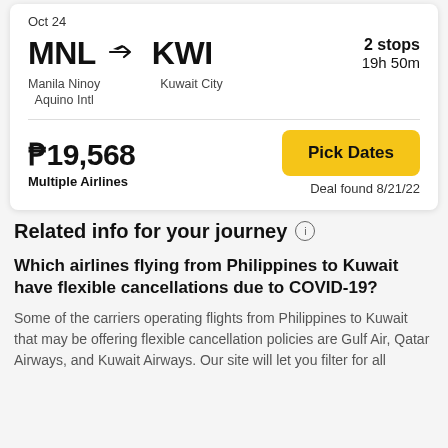Oct 24
MNL → KWI
Manila Ninoy Aquino Intl
Kuwait City
2 stops
19h 50m
₱19,568
Multiple Airlines
Pick Dates
Deal found 8/21/22
Related info for your journey
Which airlines flying from Philippines to Kuwait have flexible cancellations due to COVID-19?
Some of the carriers operating flights from Philippines to Kuwait that may be offering flexible cancellation policies are Gulf Air, Qatar Airways, and Kuwait Airways. Our site will let you filter for all